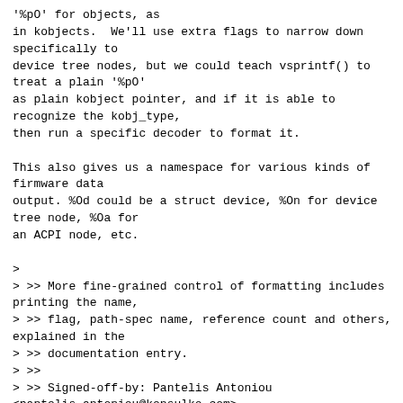'%pO' for objects, as
in kobjects.  We'll use extra flags to narrow down specifically to
device tree nodes, but we could teach vsprintf() to treat a plain '%pO'
as plain kobject pointer, and if it is able to recognize the kobj_type,
then run a specific decoder to format it.

This also gives us a namespace for various kinds of firmware data
output. %Od could be a struct device, %On for device tree node, %Oa for
an ACPI node, etc.

>
> >> More fine-grained control of formatting includes printing the name,
> >> flag, path-spec name, reference count and others, explained in the
> >> documentation entry.
> >>
> >> Signed-off-by: Pantelis Antoniou <pantelis.antoniou@konsulko.com>
> >>
> >> dt-print
> >> ---
> >> Documentation/printk-formats.txt |  29 ++++++++
> >> lib/vsprintf.c                    | 151
+++++++++++++++++++++++++++++++++++++